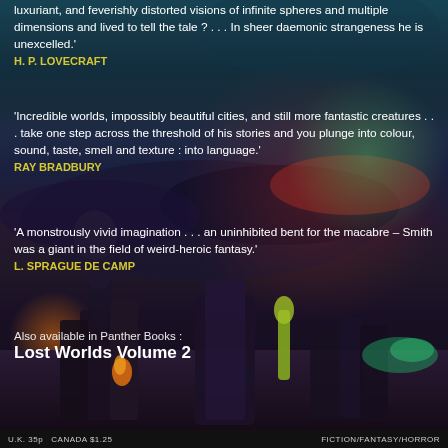luxuriant, and feverishly distorted visions of infinite spheres and multiple dimensions and lived to tell the tale ? . . . In sheer daemonic strangeness he is unexcelled.' H. P. LOVECRAFT
'Incredible worlds, impossibly beautiful cities, and still more fantastic creatures . . . take one step across the threshold of his stories and you plunge into colour, sound, taste, smell and texture : into language.' RAY BRADBURY
'A monstrously vivid imagination . . . an uninhibited bent for the macabre – Smith was a giant in the field of weird-heroic fantasy.' L. SPRAGUE DE CAMP
Also available in Panther Books :
Lost Worlds Volume 2
[Figure (illustration): Dark fantasy landscape painting showing alien rock formations, smoke/fire, purple and teal skies with dramatic clouds, strange geological structures in the foreground]
U.K. 35p   CANADA $1.25                                FICTION/FANTASY/HORROR